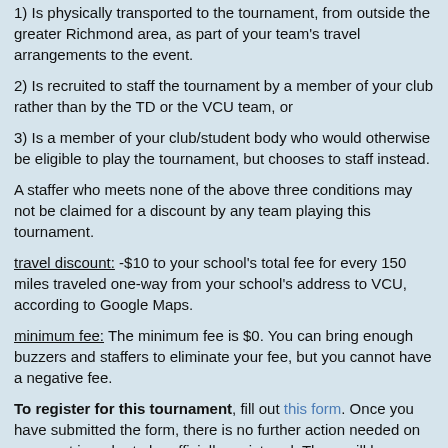1) Is physically transported to the tournament, from outside the greater Richmond area, as part of your team's travel arrangements to the event.
2) Is recruited to staff the tournament by a member of your club rather than by the TD or the VCU team, or
3) Is a member of your club/student body who would otherwise be eligible to play the tournament, but chooses to staff instead.
A staffer who meets none of the above three conditions may not be claimed for a discount by any team playing this tournament.
travel discount: -$10 to your school's total fee for every 150 miles traveled one-way from your school's address to VCU, according to Google Maps.
minimum fee: The minimum fee is $0. You can bring enough buzzers and staffers to eliminate your fee, but you cannot have a negative fee.
To register for this tournament, fill out this form. Once you have submitted the form, there is no further action needed on your part in order to be officially registered. There will be periodic updates in this thread and by e-mail indicating who has registered. Posts made in this thread do not count as official registrations. Contact quizbowlatvcu@gmail.com if you need to modify your registration.
Please feel welcome to share this announcement with any schools that